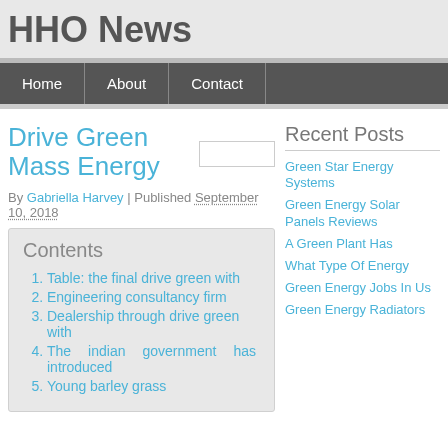HHO News
Home | About | Contact
Drive Green Mass Energy
By Gabriella Harvey | Published September 10, 2018
Contents
1. Table: the final drive green with
2. Engineering consultancy firm
3. Dealership through drive green with
4. The indian government has introduced
5. Young barley grass
Recent Posts
Green Star Energy Systems
Green Energy Solar Panels Reviews
A Green Plant Has
What Type Of Energy
Green Energy Jobs In Us
Green Energy Radiators